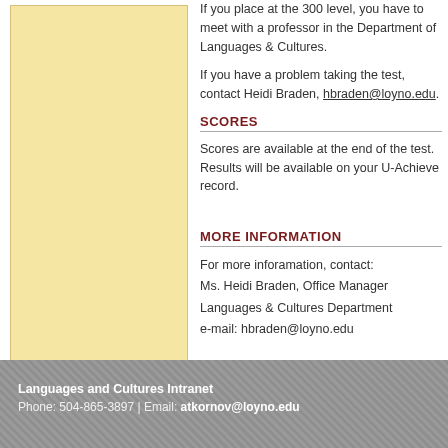[Figure (other): Light yellow/cream colored rectangular panel on the left side of the page]
If you place at the 300 level, you have to meet with a professor in the Department of Languages & Cultures.
If you have a problem taking the test, contact Heidi Braden, hbraden@loyno.edu.
SCORES
Scores are available at the end of the test. Results will be available on your U-Achieve record.
MORE INFORMATION
For more inforamation, contact:
Ms. Heidi Braden, Office Manager
Languages & Cultures Department
e-mail: hbraden@loyno.edu

(504) 865-2295
Languages and Cultures Intranet
Phone: 504-865-3897 | Email: atkornov@loyno.edu